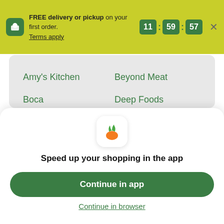FREE delivery or pickup on your first order. Terms apply
Amy's Kitchen
Beyond Meat
Boca
Deep Foods
Dr. Praeger's
Gardein
Gardenburger
Hilary's
Morning Star Farms
Sunshine Burger
Tandoor Chef
[Figure (logo): Instacart carrot logo icon]
Speed up your shopping in the app
Continue in app
Continue in browser